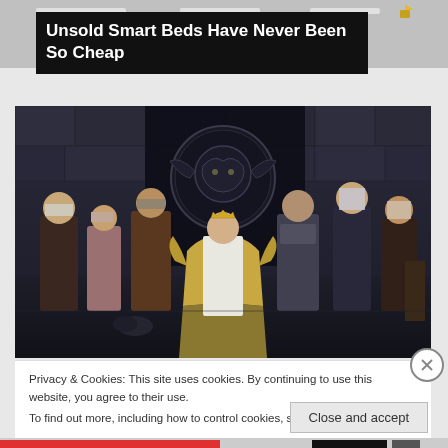[Figure (screenshot): Top browser/app navigation bar area in gray]
Unsold Smart Beds Have Never Been So Cheap
[Figure (photo): Group of medieval fantasy characters in elaborate costumes standing before a large dragon sigil on a dark stone wall. A figure sits on an ornate golden throne in the center, surrounded by courtiers and knights. Scene from House of the Dragon / Game of Thrones style show.]
Privacy & Cookies: This site uses cookies. By continuing to use this website, you agree to their use.
To find out more, including how to control cookies, see here: Cookie Policy
Close and accept